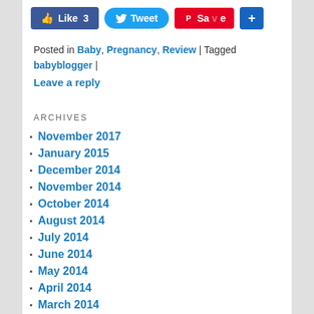[Figure (other): Social sharing buttons: Facebook Like (3), Tweet, Pinterest Save, and a blue plus button]
Posted in Baby, Pregnancy, Review | Tagged babyblogger |
Leave a reply
ARCHIVES
November 2017
January 2015
December 2014
November 2014
October 2014
August 2014
July 2014
June 2014
May 2014
April 2014
March 2014
February 2014
January 2014
December 2013